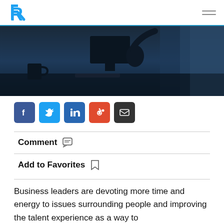R [logo] [hamburger menu]
[Figure (photo): Dark silhouette of a person working at a computer desk, with a coffee mug visible on the left, blue-toned low-light office environment]
[Figure (infographic): Row of five social sharing buttons: Facebook (dark blue), Twitter (light blue), LinkedIn (blue), Reddit (orange-red), Email (dark/black)]
Comment
Add to Favorites
Business leaders are devoting more time and energy to issues surrounding people and improving the talent experience as a way to